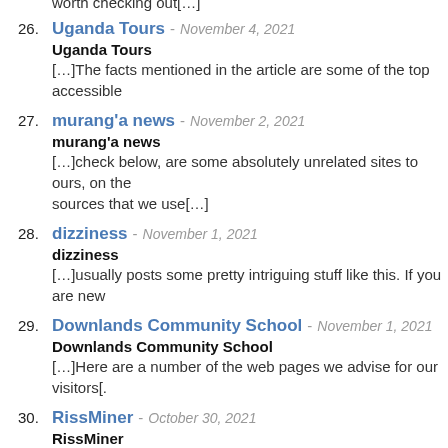worth checking out[…]
26. Uganda Tours - November 4, 2021
Uganda Tours
[…]The facts mentioned in the article are some of the top accessible
27. murang'a news - November 2, 2021
murang'a news
[…]check below, are some absolutely unrelated sites to ours, on the sources that we use[…]
28. dizziness - November 1, 2021
dizziness
[…]usually posts some pretty intriguing stuff like this. If you are new
29. Downlands Community School - November 1, 2021
Downlands Community School
[…]Here are a number of the web pages we advise for our visitors[.
30. RissMiner - October 30, 2021
RissMiner
[…]please pay a visit to the web pages we comply with, which inclu